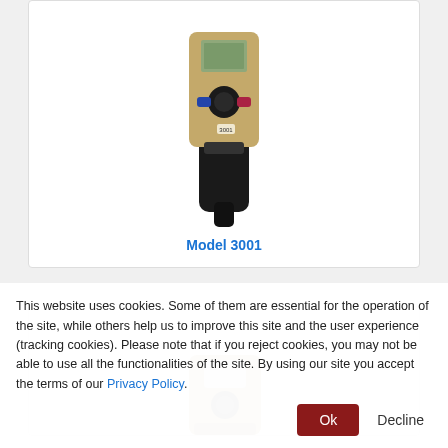[Figure (photo): Photo of a handheld gas detector device, Model 3001, shown from above with a black body and tan/beige top panel with display screen and control buttons]
Model 3001
[Figure (photo): Partial photo of another handheld device, partially visible at the bottom of the second product card]
This website uses cookies. Some of them are essential for the operation of the site, while others help us to improve this site and the user experience (tracking cookies). Please note that if you reject cookies, you may not be able to use all the functionalities of the site. By using our site you accept the terms of our Privacy Policy.